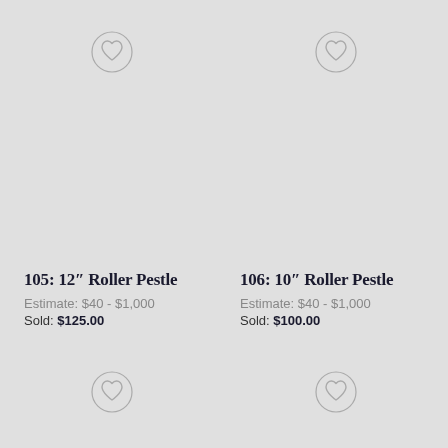[Figure (illustration): Heart/wishlist icon in circle, top center of left cell]
105: 12″ Roller Pestle
Estimate: $40 - $1,000
Sold: $125.00
[Figure (illustration): Heart/wishlist icon in circle, bottom center of left cell]
[Figure (illustration): Heart/wishlist icon in circle, top center of right cell]
106: 10″ Roller Pestle
Estimate: $40 - $1,000
Sold: $100.00
[Figure (illustration): Heart/wishlist icon in circle, bottom center of right cell]